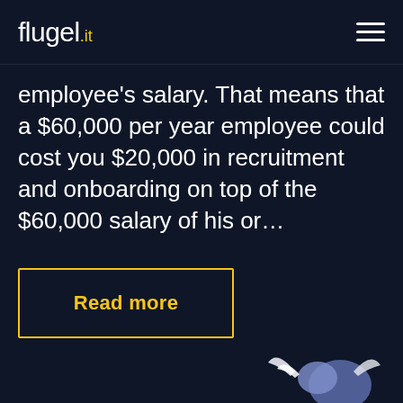flugel.it
employee's salary. That means that a $60,000 per year employee could cost you $20,000 in recruitment and onboarding on top of the $60,000 salary of his or…
Read more
[Figure (illustration): Partial illustration of a winged figure at the bottom right of the page]